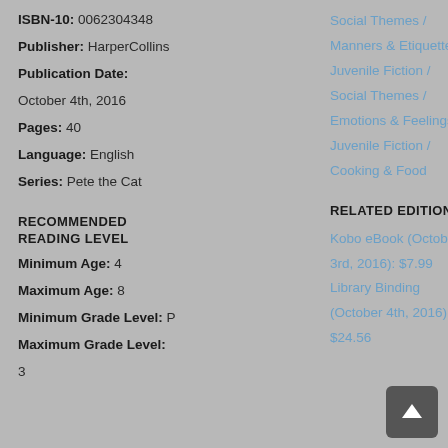ISBN-10: 0062304348
Publisher: HarperCollins
Publication Date:
October 4th, 2016
Pages: 40
Language: English
Series: Pete the Cat
RECOMMENDED READING LEVEL
Minimum Age: 4
Maximum Age: 8
Minimum Grade Level: P
Maximum Grade Level:
Social Themes /
Manners & Etiquette
Juvenile Fiction /
Social Themes /
Emotions & Feelings
Juvenile Fiction /
Cooking & Food
RELATED EDITIONS (ALL)
Kobo eBook (October 3rd, 2016): $7.99
Library Binding (October 4th, 2016): $24.56